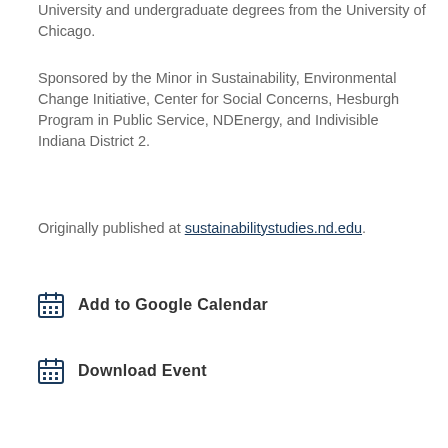University and undergraduate degrees from the University of Chicago.
Sponsored by the Minor in Sustainability, Environmental Change Initiative, Center for Social Concerns, Hesburgh Program in Public Service, NDEnergy, and Indivisible Indiana District 2.
Originally published at sustainabilitystudies.nd.edu.
Add to Google Calendar
Download Event